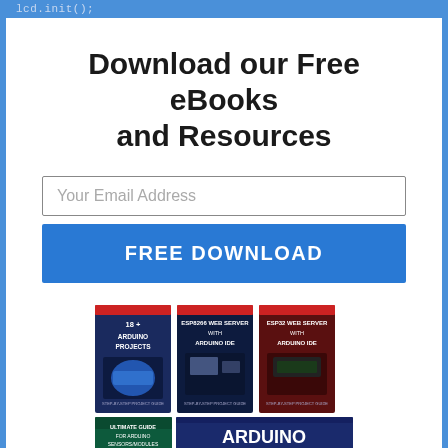lcd.init();
Download our Free eBooks and Resources
Your Email Address
FREE DOWNLOAD
[Figure (illustration): Three eBook covers (18+ Arduino Projects, ESP8266 Web Server with Arduino IDE, ESP32 Web Server with Arduino IDE) on the top row, and two more (Ultimate Guide for Arduino Sensors/Modules, Arduino Mini Course) on the bottom row.]